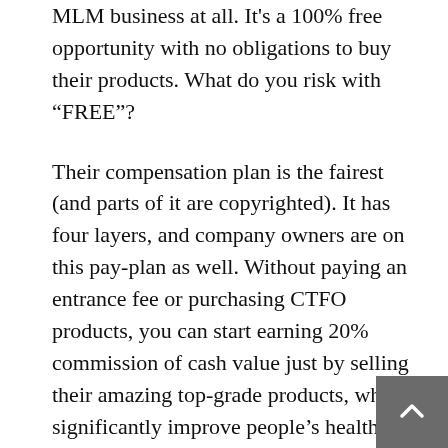MLM business at all. It's a 100% free opportunity with no obligations to buy their products. What do you risk with "FREE"?
Their compensation plan is the fairest (and parts of it are copyrighted). It has four layers, and company owners are on this pay-plan as well. Without paying an entrance fee or purchasing CTFO products, you can start earning 20% commission of cash value just by selling their amazing top-grade products, which significantly improve people's health, relieve chronic pain, and return quality of life to many (including me!). The video in my post explains all 4 layers of the compensation plan well, but if you have